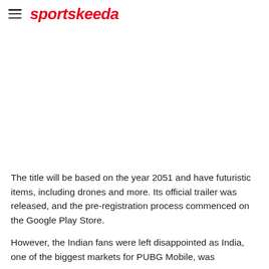sportskeeda
[Figure (other): Blank white image placeholder area]
The title will be based on the year 2051 and have futuristic items, including drones and more. Its official trailer was released, and the pre-registration process commenced on the Google Play Store.
However, the Indian fans were left disappointed as India, one of the biggest markets for PUBG Mobile, was